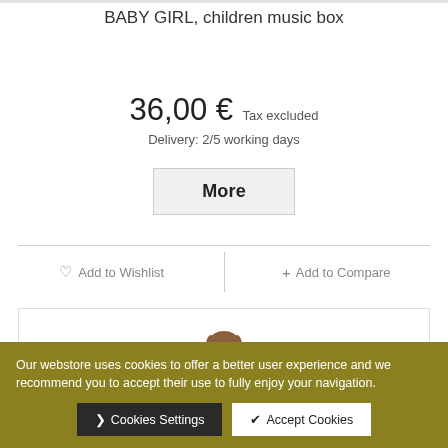BABY GIRL, children music box
36,00 € Tax excluded
Delivery: 2/5 working days
More
♡ Add to Wishlist
+ Add to Compare
[Figure (illustration): Baby girl figurine toy sitting, wearing teal outfit, brown hair]
Our webstore uses cookies to offer a better user experience and we recommend you to accept their use to fully enjoy your navigation.
> Cookies Settings
✔ Accept Cookies